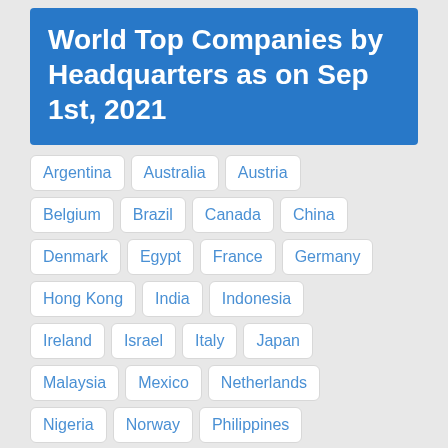World Top Companies by Headquarters as on Sep 1st, 2021
Argentina
Australia
Austria
Belgium
Brazil
Canada
China
Denmark
Egypt
France
Germany
Hong Kong
India
Indonesia
Ireland
Israel
Italy
Japan
Malaysia
Mexico
Netherlands
Nigeria
Norway
Philippines
Poland
Russia
Saudi Arabia